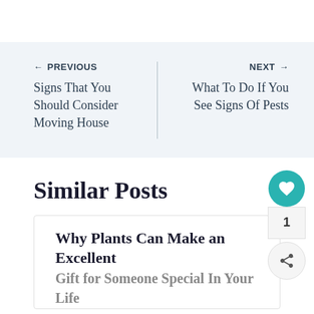← PREVIOUS
Signs That You Should Consider Moving House
NEXT →
What To Do If You See Signs Of Pests
Similar Posts
Why Plants Can Make an Excellent Gift for Someone Special In Your Life
[Figure (other): Advertisement banner: orange background with 'You can help hungry kids.' text, No Kid Hungry logo, Learn How button, and close X button]